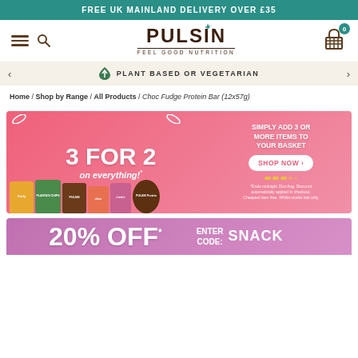FREE UK MAINLAND DELIVERY OVER £35
[Figure (logo): Pulsin Feel Good Nutrition logo with hamburger menu, search icon, and cart]
PLANT BASED OR VEGETARIAN
Home / Shop by Range / All Products / Choc Fudge Protein Bar (12x57g)
[Figure (infographic): 3 FOR 2 on everything promotional banner. Simply add 3 or more items to your basket. Shop Now button. *Ends midnight 31st Aug. Discount automatically applied in checkout. Cheapest item free. Whilst stocks last only.]
[Figure (infographic): 20% OFF promotion banner with Enter Code SNACK]